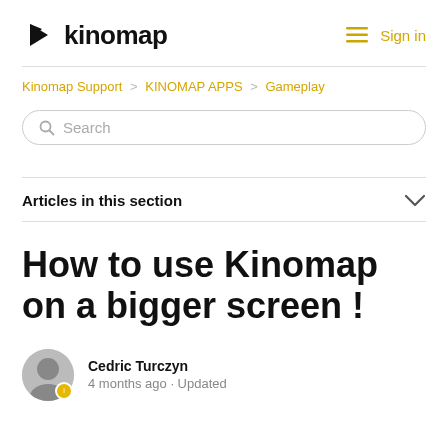kinomap  Sign in
Kinomap Support > KINOMAP APPS > Gameplay
Search
Articles in this section
How to use Kinomap on a bigger screen !
Cedric Turczyn
4 months ago · Updated